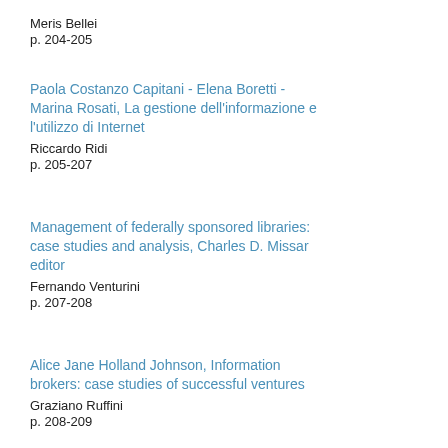Meris Bellei
p. 204-205
Paola Costanzo Capitani - Elena Boretti - Marina Rosati, La gestione dell'informazione e l'utilizzo di Internet
Riccardo Ridi
p. 205-207
Management of federally sponsored libraries: case studies and analysis, Charles D. Missar editor
Fernando Venturini
p. 207-208
Alice Jane Holland Johnson, Information brokers: case studies of successful ventures
Graziano Ruffini
p. 208-209